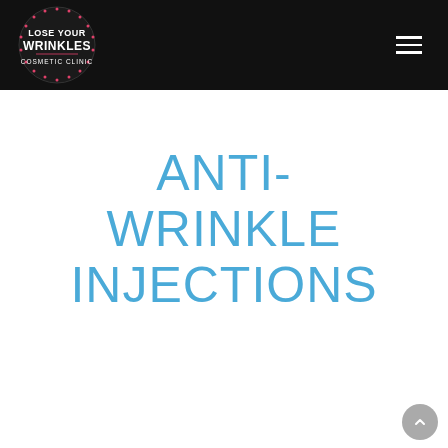[Figure (logo): Lose Your Wrinkles Cosmetic Clinic logo — circular black badge with white text reading LOSE YOUR WRINKLES in bold, pink dot border, and COSMETIC CLINIC in smaller text below]
ANTI-WRINKLE INJECTIONS